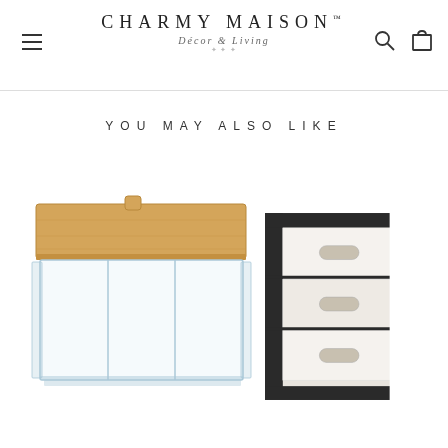CHARMY MAISON Décor & Living
YOU MAY ALSO LIKE
[Figure (photo): Clear acrylic organizer box with three compartments and a bamboo wooden lid with a small knob handle]
[Figure (photo): Partially visible storage organizer with black frame and light wood/beige panels, appears to be a multi-drawer unit]